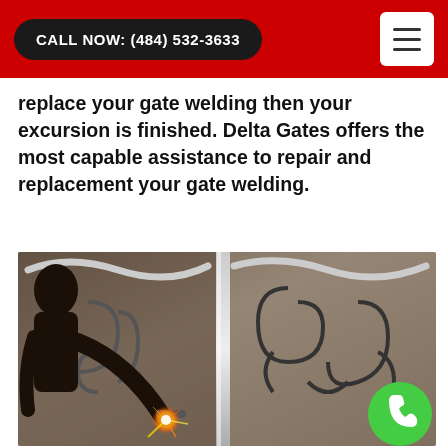CALL NOW: (484) 532-3633
replace your gate welding then your excursion is finished. Delta Gates offers the most capable assistance to repair and replacement your gate welding.
[Figure (photo): A worker welding an ornate wrought iron gate with decorative scrollwork. Sparks are visible at the welding point. The gate has two panels with curved bar designs. A green phone call button is overlaid in the bottom right corner.]